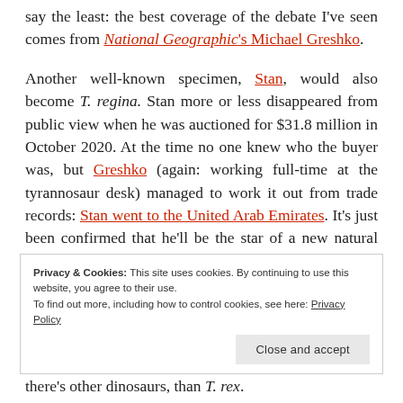say the least: the best coverage of the debate I've seen comes from National Geographic's Michael Greshko.
Another well-known specimen, Stan, would also become T. regina. Stan more or less disappeared from public view when he was auctioned for $31.8 million in October 2020. At the time no one knew who the buyer was, but Greshko (again: working full-time at the tyrannosaur desk) managed to work it out from trade records: Stan went to the United Arab Emirates. It's just been confirmed that he'll be the star of a new natural history museum now under construction in Abu Dhabi.
Privacy & Cookies: This site uses cookies. By continuing to use this website, you agree to their use. To find out more, including how to control cookies, see here: Privacy Policy
there's other dinosaurs, than T. rex.